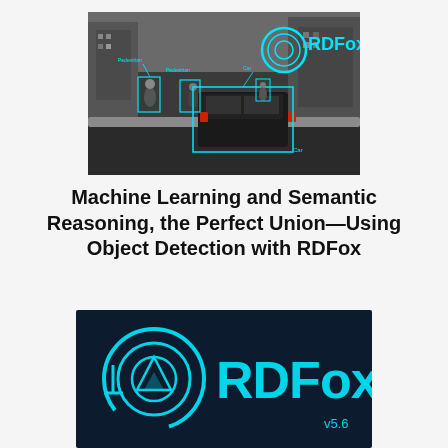[Figure (photo): Street scene with object detection overlays — cyan bounding boxes around pedestrians and a car, with a cyan circular RDFox logo and 'RDFOX' text in the top right. Winter city street, black and white photo tint.]
Machine Learning and Semantic Reasoning, the Perfect Union—Using Object Detection with RDFox
[Figure (logo): RDFox logo on dark navy background — cyan circular logo icon with a triangle and arc design, followed by 'RDFOX' text in cyan, and 'v5.6' in the bottom right corner.]